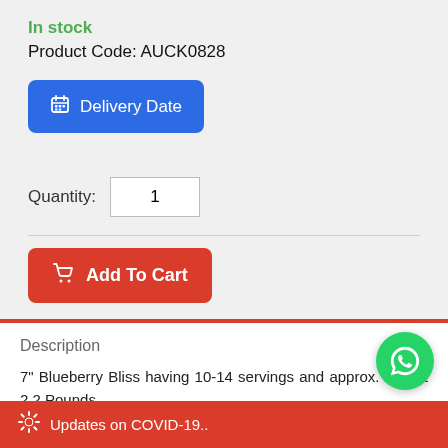In stock
Product Code: AUCK0828
Delivery Date
Quantity: 1
Add To Cart
Description
7" Blueberry Bliss having 10-14 servings and approx. weight 2.2 Pounds.
Same Day Delivery Information
* For Delivery in AUSTRALIA only.
* All cake deliveries are done between 12 noon and pm local time.
Updates on COVID-19..